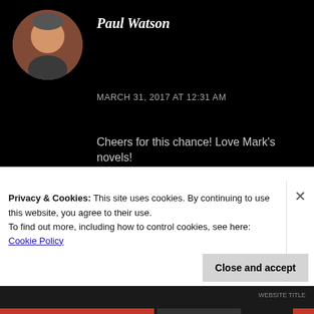[Figure (photo): Circular avatar photo of a middle-aged man against a brick background]
Paul Watson
MARCH 31, 2017 AT 12:31 AM
Cheers for this chance! Love Mark's novels!
★ Liked by 1 person
REPLY
[Figure (photo): Circular avatar for Goran Edenro, green/grey pattern]
Goran Edenro
Privacy & Cookies: This site uses cookies. By continuing to use this website, you agree to their use.
To find out more, including how to control cookies, see here: Cookie Policy
Close and accept